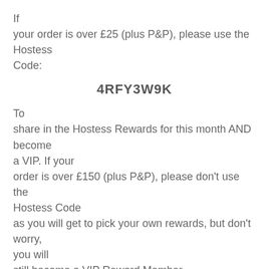If your order is over £25 (plus P&P), please use the Hostess Code:
4RFY3W9K
To share in the Hostess Rewards for this month AND become a VIP. If your order is over £150 (plus P&P), please don't use the Hostess Code as you will get to pick your own rewards, but don't worry, you will still become a VIP Reward Member. The Starter Kit is ALWAYS the best deal in the Catalogue and great value at just £99 for your choice of £130 of products (with no